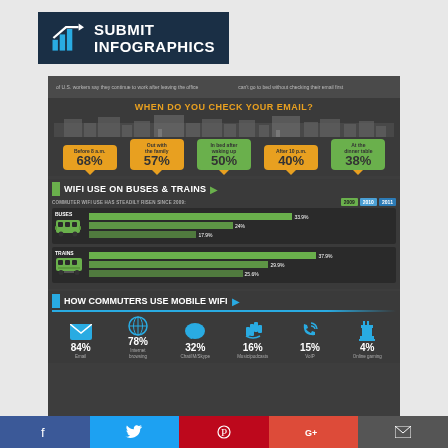[Figure (logo): Submit Infographics logo with arrow and bar chart icon on dark navy background]
WHEN DO YOU CHECK YOUR EMAIL?
[Figure (infographic): When Do You Check Your Email?]
WIFI USE ON BUSES & TRAINS
COMMUTER WIFI USE HAS STEADILY RISEN SINCE 2009:
[Figure (bar-chart): WiFi use on Buses & Trains]
HOW COMMUTERS USE MOBILE WIFI
[Figure (infographic): How Commuters Use Mobile WiFi]